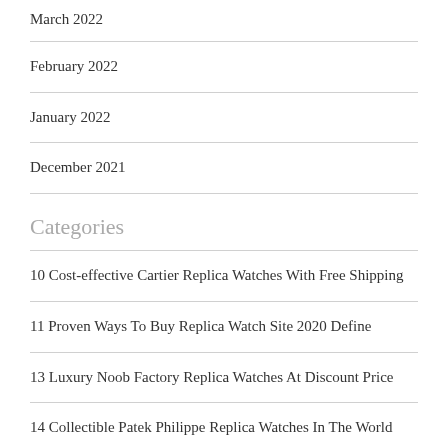March 2022
February 2022
January 2022
December 2021
Categories
10 Cost-effective Cartier Replica Watches With Free Shipping
11 Proven Ways To Buy Replica Watch Site 2020 Define
13 Luxury Noob Factory Replica Watches At Discount Price
14 Collectible Patek Philippe Replica Watches In The World